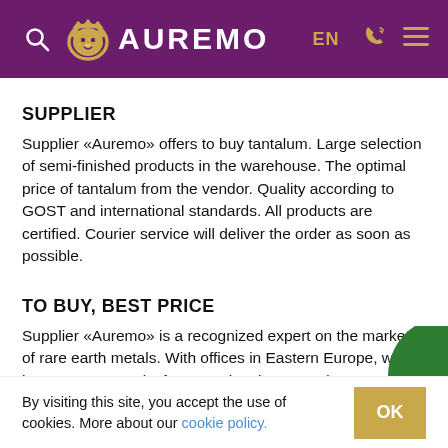AUREMO | EN
SUPPLIER
Supplier «Auremo» offers to buy tantalum. Large selection of semi-finished products in the warehouse. The optimal price of tantalum from the vendor. Quality according to GOST and international standards. All products are certified. Courier service will deliver the order as soon as possible.
TO BUY, BEST PRICE
Supplier «Auremo» is a recognized expert on the market of rare earth metals. With offices in Eastern Europe, we have an opportunity for operational cooperatio...
By visiting this site, you accept the use of cookies. More about our cookie policy.